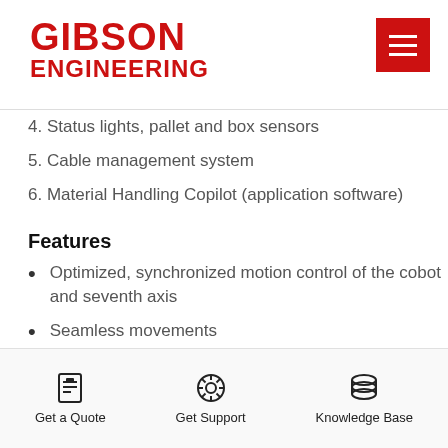Gibson Engineering
4. Status lights, pallet and box sensors
5. Cable management system
6. Material Handling Copilot (application software)
Features
Optimized, synchronized motion control of the cobot and seventh axis
Seamless movements
Requires no external PC
Small footprint
Benefits
Get a Quote | Get Support | Knowledge Base